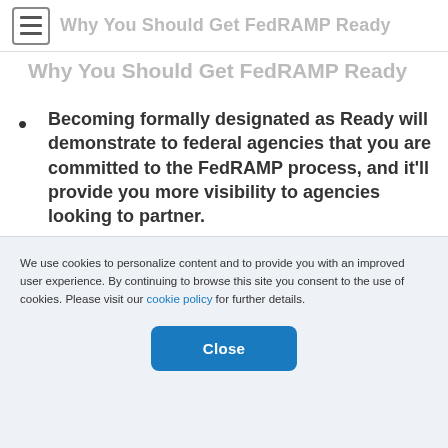Why You Should Get FedRAMP Ready
Becoming formally designated as Ready will demonstrate to federal agencies that you are committed to the FedRAMP process, and it'll provide you more visibility to agencies looking to partner. Your CSO's name on the FedRAMP Marketplace can be used when responding
We use cookies to personalize content and to provide you with an improved user experience. By continuing to browse this site you consent to the use of cookies. Please visit our cookie policy for further details.
Close